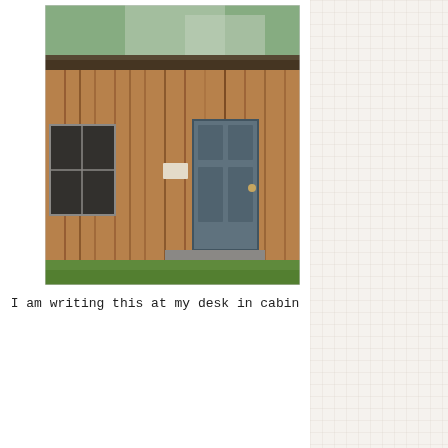[Figure (photo): A blurry photograph of a rustic wooden cabin or shed with vertical wood plank siding, a dark door, windows, and green trees visible behind it. The building appears weathered, sitting on grass.]
I am writing this at my desk in cabin